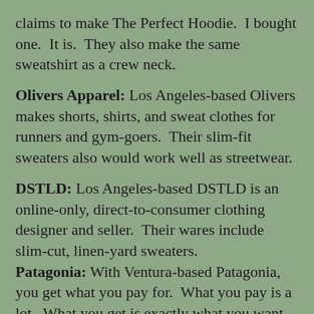claims to make The Perfect Hoodie.  I bought one.  It is.  They also make the same sweatshirt as a crew neck.
Olivers Apparel: Los Angeles-based Olivers makes shorts, shirts, and sweat clothes for runners and gym-goers.  Their slim-fit sweaters also would work well as streetwear.
DSTLD: Los Angeles-based DSTLD is an online-only, direct-to-consumer clothing designer and seller.  Their wares include slim-cut, linen-yard sweaters.
Patagonia: With Ventura-based Patagonia, you get what you pay for.  What you pay is a lot.  What you get is exactly what you want.  Patagonia's gear and clothing looks great, it works perfectly, and it is manufactured as ethically and sustainably as reasonably possible.  I do not yet own a Patagonia sweater.  But I do own a broad cross-section Patagonia clothing and gear, all of which may very well last me forever.
Chrome: When I lived in the real Bay Area (i.e., the Bay Area in which you can see the Bay Bridge and